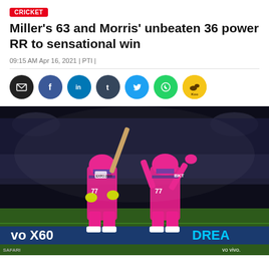Miller's 63 and Morris' unbeaten 36 power RR to sensational win
09:15 AM Apr 16, 2021 | PTI |
[Figure (photo): Two Rajasthan Royals cricket players in pink uniforms celebrating on the field at night, with stadium advertising boards showing 'vivo X60' and 'DREAM' in the background.]